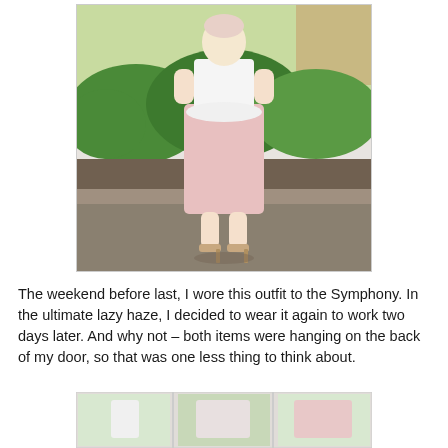[Figure (photo): A person wearing a white peplum top and a long pink tulle skirt with nude heeled sandals, standing outdoors in a garden or park setting with green shrubs and a lattice fence in the background.]
The weekend before last, I wore this outfit to the Symphony. In the ultimate lazy haze, I decided to wear it again to work two days later.  And why not – both items were hanging on the back of my door, so that was one less thing to think about.
[Figure (photo): Three smaller cropped photos at the bottom of the page showing details of the same outfit — the white peplum top, a mid-section view, and the pink tulle skirt.]